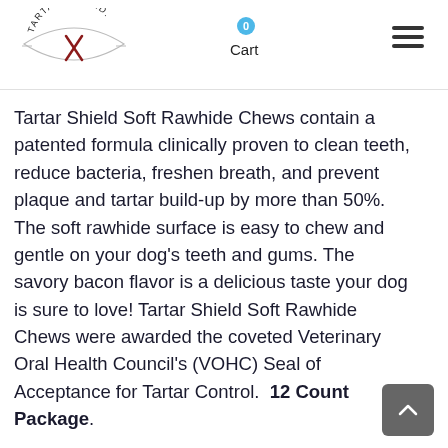Tartar Shield [logo] | Cart 0 | Menu
Tartar Shield Soft Rawhide Chews contain a patented formula clinically proven to clean teeth, reduce bacteria, freshen breath, and prevent plaque and tartar build-up by more than 50%. The soft rawhide surface is easy to chew and gentle on your dog's teeth and gums. The savory bacon flavor is a delicious taste your dog is sure to love! Tartar Shield Soft Rawhide Chews were awarded the coveted Veterinary Oral Health Council's (VOHC) Seal of Acceptance for Tartar Control. 12 Count Package.